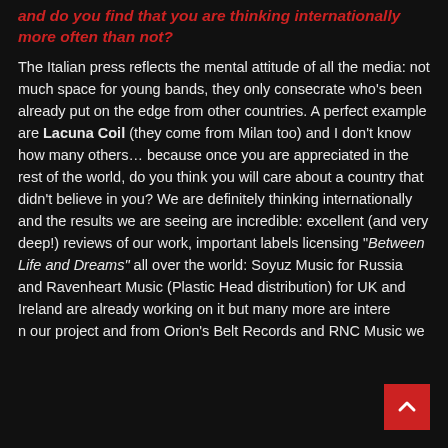and do you find that you are thinking internationally more often than not?
The Italian press reflects the mental attitude of all the media: not much space for young bands, they only consecrate who’s been already put on the edge from other countries. A perfect example are Lacuna Coil (they come from Milan too) and I don’t know how many others… because once you are appreciated in the rest of the world, do you think you will care about a country that didn’t believe in you? We are definitely thinking internationally and the results we are seeing are incredible: excellent (and very deep!) reviews of our work, important labels licensing “Between Life and Dreams” all over the world: Soyuz Music for Russia and Ravenheart Music (Plastic Head distribution) for UK and Ireland are already working on it but many more are interested in our project and from Orion’s Belt Records and RNC Music we